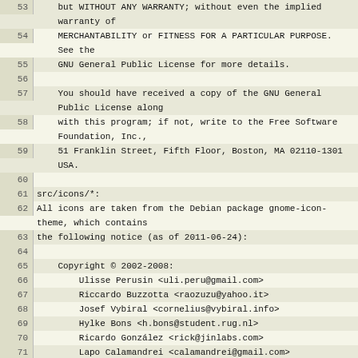53    but WITHOUT ANY WARRANTY; without even the implied warranty of
54    MERCHANTABILITY or FITNESS FOR A PARTICULAR PURPOSE. See the
55    GNU General Public License for more details.
56
57    You should have received a copy of the GNU General Public License along
58    with this program; if not, write to the Free Software Foundation, Inc.,
59    51 Franklin Street, Fifth Floor, Boston, MA 02110-1301 USA.
60
61 src/icons/*:
62 All icons are taken from the Debian package gnome-icon-theme, which contains
63 the following notice (as of 2011-06-24):
64
65    Copyright © 2002-2008:
66        Ulisse Perusin <uli.peru@gmail.com>
67        Riccardo Buzzotta <raozuzu@yahoo.it>
68        Josef Vybiral <cornelius@vybiral.info>
69        Hylke Bons <h.bons@student.rug.nl>
70        Ricardo González <rick@jinlabs.com>
71        Lapo Calamandrei <calamandrei@gmail.com>
72        Rodney Dawes <dobey@novell.com>
73        Luca Ferretti <elle.uca@libero.it>
74        Tuomas Kuosmanen <tigert@gimp.org>
75        Andreas Nilsson <nisses.mail@home.se>
76        Jakub Steiner <jimmac@novell.com>
77
78    GNOME icon theme is distributed under the terms of either